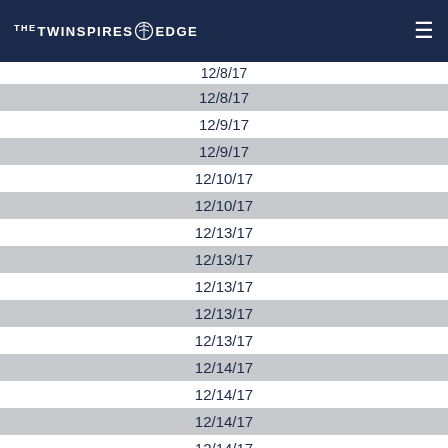THE TWINSPIRES EDGE
| Date |
| --- |
| 12/8/17 |
| 12/8/17 |
| 12/9/17 |
| 12/9/17 |
| 12/10/17 |
| 12/10/17 |
| 12/13/17 |
| 12/13/17 |
| 12/13/17 |
| 12/13/17 |
| 12/13/17 |
| 12/14/17 |
| 12/14/17 |
| 12/14/17 |
| 12/14/17 |
| 12/14/17 |
| 12/14/17 |
| 12/15/17 |
| 12/15/17 |
| 12/15/17 |
| 12/15/17 |